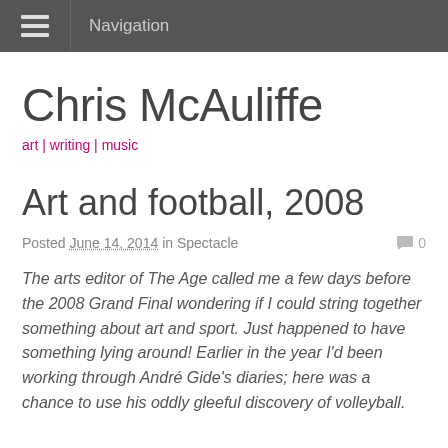Navigation
Chris McAuliffe
art | writing | music
Art and football, 2008
Posted June 14, 2014 in Spectacle  0
The arts editor of The Age called me a few days before the 2008 Grand Final wondering if I could string together something about art and sport. Just happened to have something lying around! Earlier in the year I'd been working through André Gide's diaries; here was a chance to use his oddly gleeful discovery of volleyball.